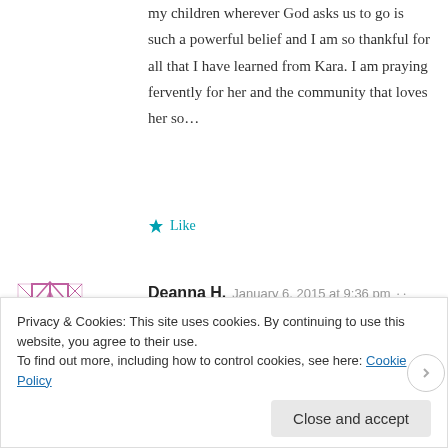my children wherever God asks us to go is such a powerful belief and I am so thankful for all that I have learned from Kara. I am praying fervently for her and the community that loves her so…
★ Like
Deanna H.  January 6, 2015 at 9:36 pm · · Reply →
Thank you for sharing. I have read Kara's beautiful blog for months and she is so inspiring. I would love a copy of her book.
Privacy & Cookies: This site uses cookies. By continuing to use this website, you agree to their use.
To find out more, including how to control cookies, see here: Cookie Policy
Close and accept